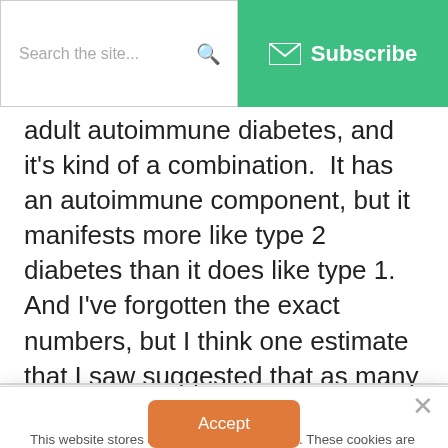Search the site... [search icon] | [envelope] Subscribe
adult autoimmune diabetes, and it’s kind of a combination.  It has an autoimmune component, but it manifests more like type 2 diabetes than it does like type 1.  And I’ve forgotten the exact numbers, but I think one estimate that I saw suggested that as many as 15% of
This website stores cookies on your computer. These cookies are used to collect information about how you interact with our website and allow us to remember you. We use this information in order to improve and customize your browsing experience and for analytics and metrics about our visitors both on this website and other media. To find out more about the cookies we use, see our Privacy Policy
Accept